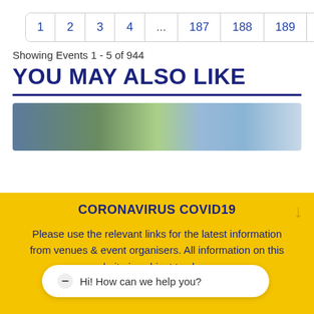1  2  3  4  ...  187  188  189  →
Showing Events 1 - 5 of 944
YOU MAY ALSO LIKE
[Figure (photo): Outdoor event photo showing crowd and greenery with light bokeh]
CORONAVIRUS COVID19
Please use the relevant links for the latest information from venues & event organisers. All information on this website is subject to change.
Hi! How can we help you?